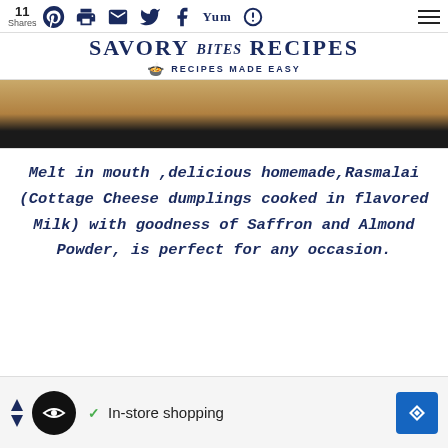11 Shares — social share icons (Pinterest, Print, Email, Twitter, Facebook, Yummly, Other)
SAVORY bites RECIPES — RECIPES MADE EASY
[Figure (photo): Hero food image showing golden/cream colored baked goods with a dark overlay band across the middle]
Melt in mouth ,delicious homemade,Rasmalai (Cottage Cheese dumplings cooked in flavored Milk) with goodness of Saffron and Almond Powder, is perfect for any occasion.
[Figure (other): Advertisement banner: In-store shopping with circular logo icon and blue diamond arrow icon]